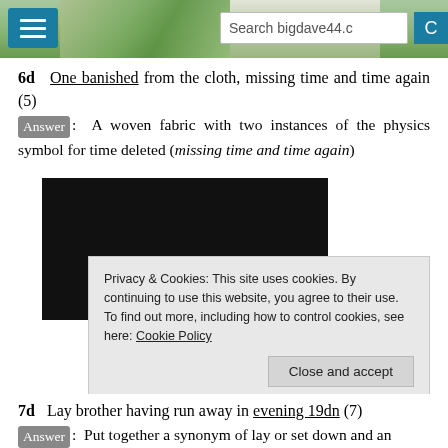Search bigdave44.c
6d   One banished from the cloth, missing time and time again (5)
Answer:  A woven fabric with two instances of the physics symbol for time deleted (missing time and time again)
[Figure (other): Black video player embed, partially visible with a play button circle at bottom center]
Privacy & Cookies: This site uses cookies. By continuing to use this website, you agree to their use.
To find out more, including how to control cookies, see here: Cookie Policy
Close and accept
7d   Lay brother having run away in evening 19dn (7)
Answer:  Put together a synonym of lay or set down and an